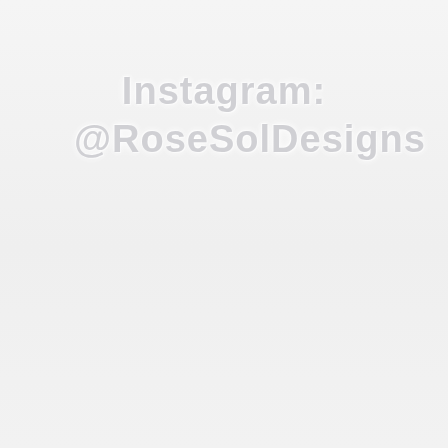[Figure (other): Watermark text reading 'Instagram: @RoseSolDesigns' in light gray with white glow/outline effect, positioned in upper-center area of a nearly white page with subtle gradient background]